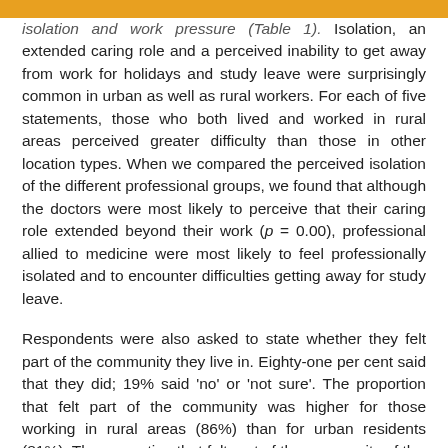isolation and work pressure (Table 1). Isolation, an extended caring role and a perceived inability to get away from work for holidays and study leave were surprisingly common in urban as well as rural workers. For each of five statements, those who both lived and worked in rural areas perceived greater difficulty than those in other location types. When we compared the perceived isolation of the different professional groups, we found that although the doctors were most likely to perceive that their caring role extended beyond their work (p = 0.00), professional allied to medicine were most likely to feel professionally isolated and to encounter difficulties getting away for study leave.
Respondents were also asked to state whether they felt part of the community they live in. Eighty-one per cent said that they did; 19% said 'no' or 'not sure'. The proportion that felt part of the community was higher for those working in rural areas (86%) than for urban residents (81%). The proportion that felt part of the community...